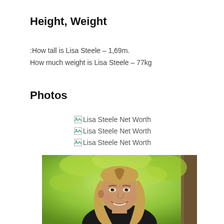Height, Weight
:How tall is Lisa Steele – 1,69m.
How much weight is Lisa Steele – 77kg
Photos
[broken image] Lisa Steele Net Worth
[broken image] Lisa Steele Net Worth
[broken image] Lisa Steele Net Worth
[Figure (photo): Portrait photo of Lisa Steele, a smiling woman with long blonde hair, wearing a black top, with green foliage and a tree trunk in the background.]